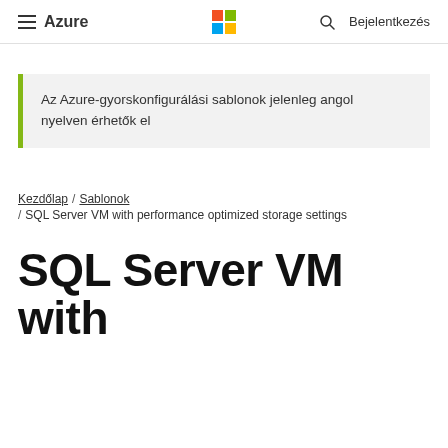≡ Azure  [Microsoft logo]  🔍  Bejelentkezés
Az Azure-gyorskonfigurálási sablonok jelenleg angol nyelven érhetők el
Kezdőlap / Sablonok / SQL Server VM with performance optimized storage settings
SQL Server VM with